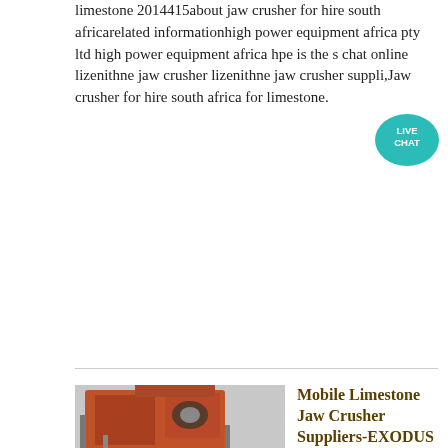limestone 2014415about jaw crusher for hire south africarelated informationhigh power equipment africa pty ltd high power equipment africa hpe is the s chat online lizenithne jaw crusher lizenithne jaw crusher suppli,Jaw crusher for hire south africa for limestone.
[Figure (other): Live chat button bubble icon - teal speech bubble with 'LIVE CHAT' text]
Get Price
[Figure (photo): Photo of large industrial jaw crusher machinery (red/orange metal structure with scaffolding) with ACRUSHER Mining Equipment logo overlay]
Mobile Limestone Jaw Crusher Suppliers-EXODUS Mining machine
Mobile limestone jaw crusher suppliers in south africa mobile limestone crusher for hire south africa mobile